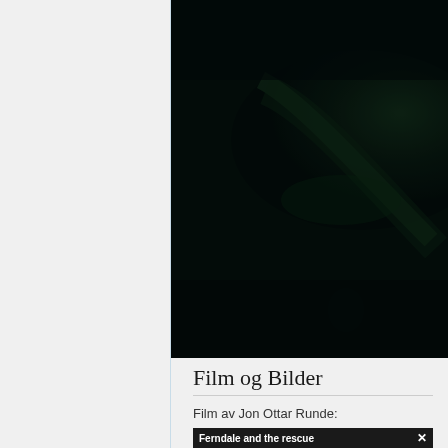[Figure (photo): Dark underwater photo showing what appears to be a shipwreck or underwater structure with faint green-tinted illumination against a very dark background.]
Film og Bilder
Film av Jon Ottar Runde:
[Figure (screenshot): Video player bar with dark background showing text 'Ferndale and the rescue' in bold white and an X close button on the right.]